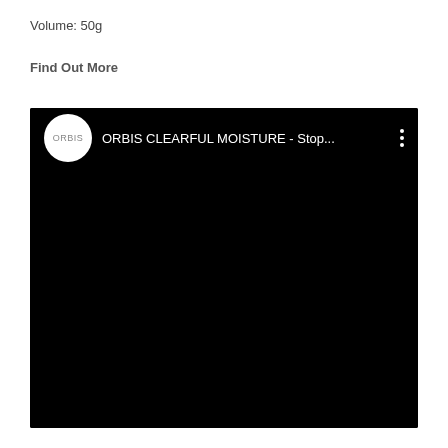Volume: 50g
Find Out More
[Figure (screenshot): Embedded YouTube-style video player with black background showing ORBIS channel icon (white circle with ORBIS text) and title 'ORBIS CLEARFUL MOISTURE - Stop...' with three-dot menu icon on dark top bar.]